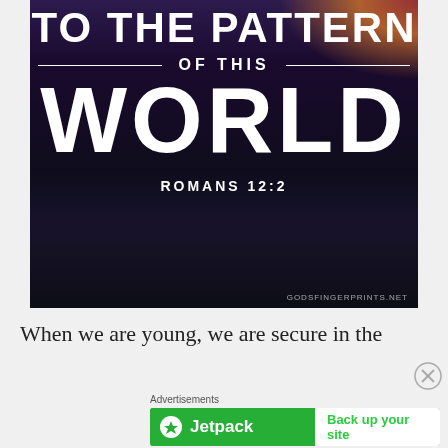[Figure (photo): Dark city skyline at night with text overlay: 'TO THE PATTERN OF THIS WORLD — ROMANS 12:2' on dark urban background. Watermark: GODSFINGERPRINTS.NET]
When we are young, we are secure in the
Advertisements
[Figure (screenshot): Jetpack advertisement banner with green background showing Jetpack logo and 'Back up your site' button]